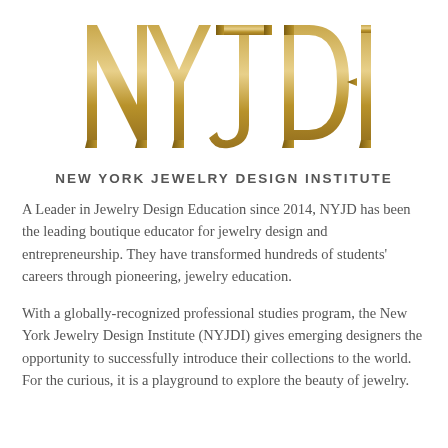[Figure (logo): NYJDI gold 3D block letter logo]
NEW YORK JEWELRY DESIGN INSTITUTE
A Leader in Jewelry Design Education since 2014, NYJD has been the leading boutique educator for jewelry design and entrepreneurship. They have transformed hundreds of students' careers through pioneering, jewelry education.
With a globally-recognized professional studies program, the New York Jewelry Design Institute (NYJDI) gives emerging designers the opportunity to successfully introduce their collections to the world. For the curious, it is a playground to explore the beauty of jewelry.